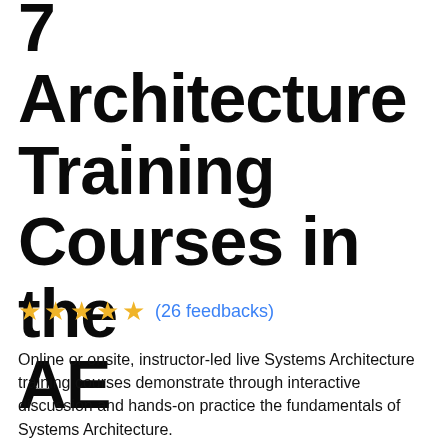7 Architecture Training Courses in the AE
★ ★ ★ ★ ★ (26 feedbacks)
Online or onsite, instructor-led live Systems Architecture training courses demonstrate through interactive discussion and hands-on practice the fundamentals of Systems Architecture.
Systems Architecture training is available as "online live training"